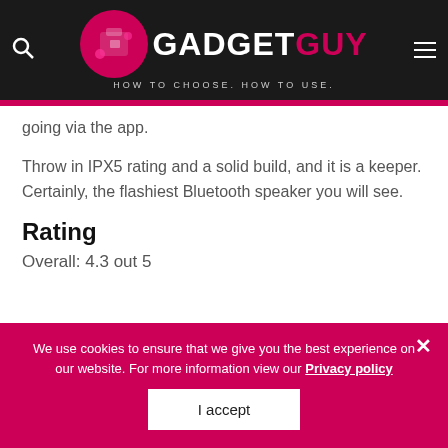GADGET GUY - HOW TO CHOOSE. HOW TO USE.
going via the app.
Throw in IPX5 rating and a solid build, and it is a keeper. Certainly, the flashiest Bluetooth speaker you will see.
Rating
Overall: 4.3 out 5
We use cookies to ensure that we give you the best experience on our website. For more information view our Privacy policy
I accept